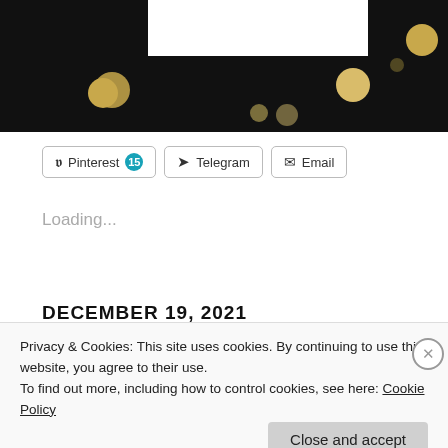[Figure (illustration): Black banner with gold/yellow polka dots and a white rectangular box in the upper center area]
Pinterest 15   Telegram   Email
Loading...
DECEMBER 19, 2021
Privacy & Cookies: This site uses cookies. By continuing to use this website, you agree to their use.
To find out more, including how to control cookies, see here: Cookie Policy
Close and accept